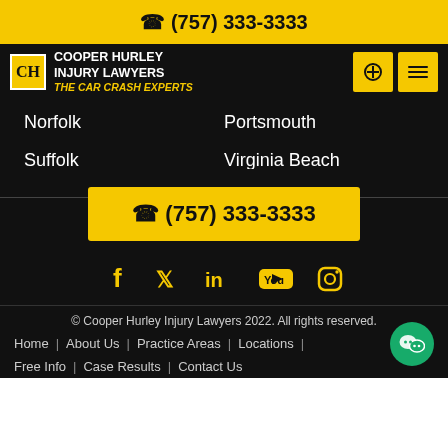(757) 333-3333
[Figure (logo): Cooper Hurley Injury Lawyers logo with CH monogram in yellow box, white text, and tagline THE CAR CRASH EXPERTS in yellow italic]
Norfolk
Portsmouth
Suffolk
Virginia Beach
(757) 333-3333
[Figure (infographic): Social media icons: Facebook, Twitter, LinkedIn, YouTube, Instagram in yellow on dark background]
© Cooper Hurley Injury Lawyers 2022. All rights reserved.
Home | About Us | Practice Areas | Locations | Free Info | Case Results | Contact Us